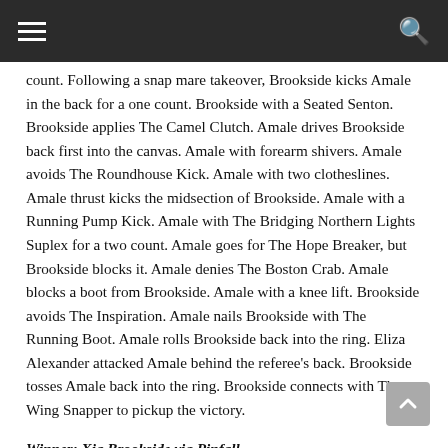count. Following a snap mare takeover, Brookside kicks Amale in the back for a one count. Brookside with a Seated Senton. Brookside applies The Camel Clutch. Amale drives Brookside back first into the canvas. Amale with forearm shivers. Amale avoids The Roundhouse Kick. Amale with two clotheslines. Amale thrust kicks the midsection of Brookside. Amale with a Running Pump Kick. Amale with The Bridging Northern Lights Suplex for a two count. Amale goes for The Hope Breaker, but Brookside blocks it. Amale denies The Boston Crab. Amale blocks a boot from Brookside. Amale with a knee lift. Brookside avoids The Inspiration. Amale nails Brookside with The Running Boot. Amale rolls Brookside back into the ring. Eliza Alexander attacked Amale behind the referee's back. Brookside tosses Amale back into the ring. Brookside connects with The Wing Snapper to pickup the victory.
Winner: Xia Brookside via Pinfall
– The A-Kid is looking forward to his upcoming clash with Teoman.